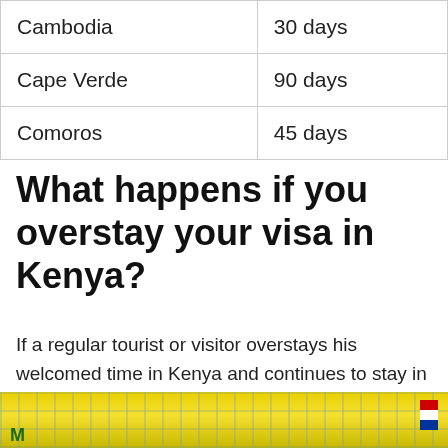| Cambodia | 30 days |
| Cape Verde | 90 days |
| Comoros | 45 days |
What happens if you overstay your visa in Kenya?
If a regular tourist or visitor overstays his welcomed time in Kenya and continues to stay in the country even after the expiry of his visa, they can be arrested by the Civil Police.
[Figure (photo): A colorful banner image showing a map background with bold green letters and a flag graphic, partially visible at the bottom of the page]